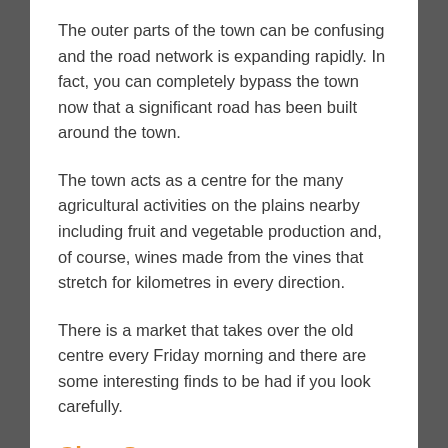The outer parts of the town can be confusing and the road network is expanding rapidly. In fact, you can completely bypass the town now that a significant road has been built around the town.
The town acts as a centre for the many agricultural activities on the plains nearby including fruit and vegetable production and, of course, wines made from the vines that stretch for kilometres in every direction.
There is a market that takes over the old centre every Friday morning and there are some interesting finds to be had if you look carefully.
Chez Serge
Chez Serge is a large, unpretentious restaurant on the edge of the old part of Carpentras. It is a favourite lunch place for locals who attend regularly for the good food,